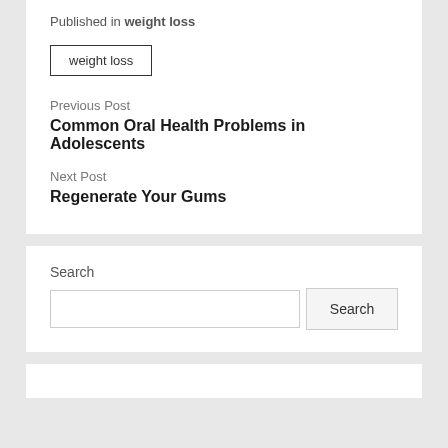Published in weight loss
weight loss
Previous Post
Common Oral Health Problems in Adolescents
Next Post
Regenerate Your Gums
Search